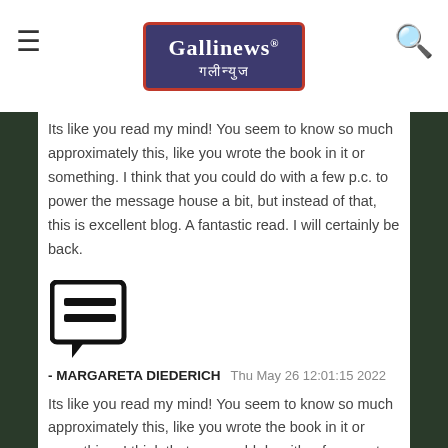Gallinews गलीन्युज
Its like you read my mind! You seem to know so much approximately this, like you wrote the book in it or something. I think that you could do with a few p.c. to power the message house a bit, but instead of that, this is excellent blog. A fantastic read. I will certainly be back.
[Figure (illustration): Comment/speech bubble icon with two horizontal lines inside, on white background]
- MARGARETA DIEDERICH   Thu May 26 12:01:15 2022
Its like you read my mind! You seem to know so much approximately this, like you wrote the book in it or something. I think that you could do with a few p.c. to power the message house a bit, but instead of that, this is excellent blog. A fantastic read. I will certainly be back.